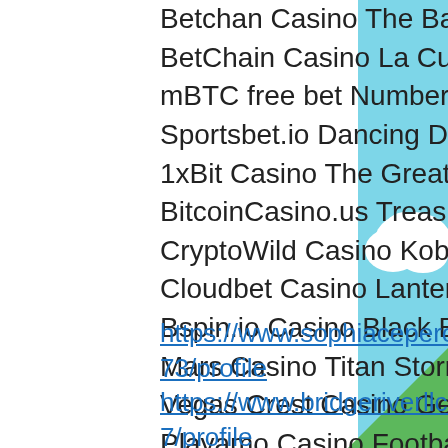Betchan Casino The Back Nine
BetChain Casino La Cucaracha
mBTC free bet Number One Slot
Sportsbet.io Dancing Dragons
1xBit Casino The Great Conflict
BitcoinCasino.us Treasure Hill
CryptoWild Casino Kobushi
Cloudbet Casino Lantern Festival
Bspin.io Casino Black Beauty
Mars Casino Titan Storm
Vegas Crest Casino Geisha Story
Playamo Casino Football Champions Cup
https://www.sophiaceperofit.com/profile/anjelicagabaree7226473/profile
https://www.bridgeriverllc.com/profile/loismarchbanks17597287/profile
https://www.hhbrewingco.com/profile/stantondagenhart2262408/profile
https://www.timcooper.com/profile/chungpayna8508741/profile